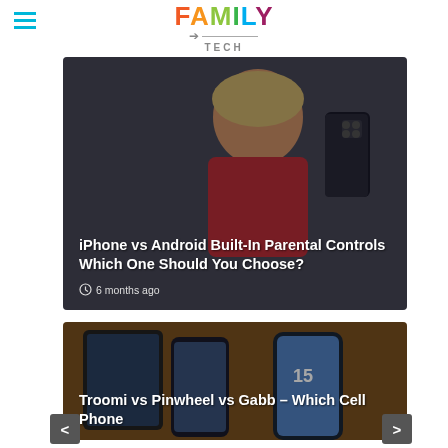FAMILY TECH
[Figure (photo): Woman with glasses holding two smartphones (iPhone and Android), smiling at camera, dark overlay with article title text overlay]
iPhone vs Android Built-In Parental Controls Which One Should You Choose?
6 months ago
[Figure (photo): Two smartphones and a tablet on an orange background, partially visible, dark overlay with article title text overlay]
Troomi vs Pinwheel vs Gabb – Which Cell Phone